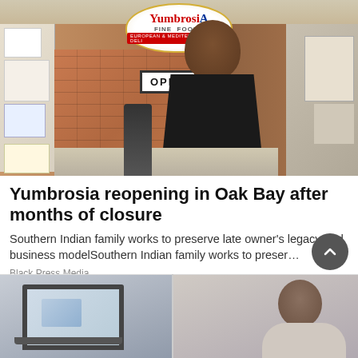[Figure (photo): Interior of Yumbrosia Fine Foods European & Mediterranean Deli store. A man of South Asian descent stands smiling in front of a brick wall with the Yumbrosia Fine Foods logo sign. An OPEN sign is visible. Store interior shows counter with equipment, papers on wall to the left, and a desk area to the right.]
Yumbrosia reopening in Oak Bay after months of closure
Southern Indian family works to preserve late owner’s legacy and business modelSouthern Indian family works to preser…
Black Press Media
[Figure (photo): Two partial images side by side at bottom of page: left shows a person at a laptop/computer desk; right shows a person in profile. A circular scroll-up button with an upward chevron overlays the right image area.]